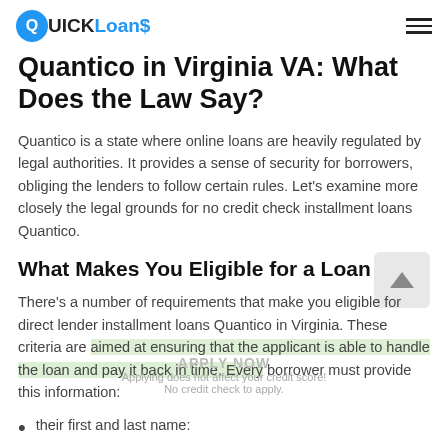QUICK Loans
Quantico in Virginia VA: What Does the Law Say?
Quantico is a state where online loans are heavily regulated by legal authorities. It provides a sense of security for borrowers, obliging the lenders to follow certain rules. Let's examine more closely the legal grounds for no credit check installment loans Quantico.
What Makes You Eligible for a Loan
There's a number of requirements that make you eligible for direct lender installment loans Quantico in Virginia. These criteria are aimed at ensuring that the applicant is able to handle the loan and pay it back in time. Every borrower must provide this information:
their first and last name: